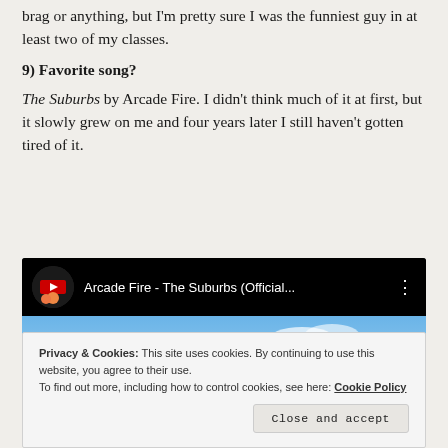brag or anything, but I'm pretty sure I was the funniest guy in at least two of my classes.
9) Favorite song?
The Suburbs by Arcade Fire. I didn't think much of it at first, but it slowly grew on me and four years later I still haven't gotten tired of it.
[Figure (screenshot): YouTube video embed showing 'Arcade Fire - The Suburbs (Official...' with a YouTube play button overlay on a scene of suburban houses and sky]
Privacy & Cookies: This site uses cookies. By continuing to use this website, you agree to their use.
To find out more, including how to control cookies, see here: Cookie Policy
Close and accept